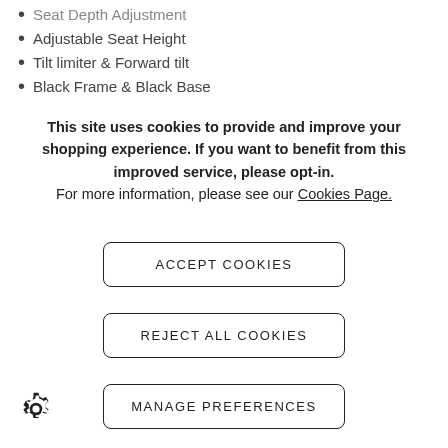Seat Depth Adjustment
Adjustable Seat Height
Tilt limiter & Forward tilt
Black Frame & Black Base
Black Arm Caps
This site uses cookies to provide and improve your shopping experience. If you want to benefit from this improved service, please opt-in.
For more information, please see our Cookies Page.
ACCEPT COOKIES
REJECT ALL COOKIES
MANAGE PREFERENCES